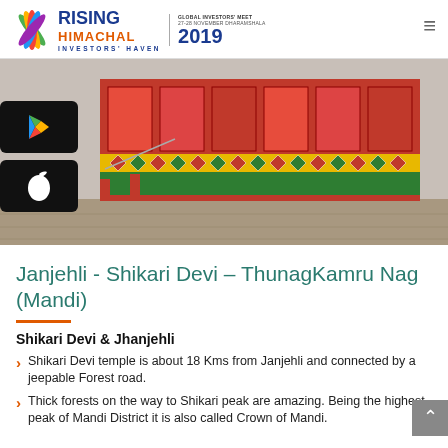[Figure (logo): Rising Himachal Global Investors Meet 2019 logo with multicolored fan/leaf icon, text RISING HIMACHAL INVESTORS' HAVEN and GLOBAL INVESTORS' MEET 27-28 NOVEMBER DHARAMSHALA 2019]
[Figure (photo): Colorful Hindu temple structure with red, green, yellow decorative patterns and diamond motifs, photographed outdoors on stone pavement]
Janjehli - Shikari Devi – ThunagKamru Nag (Mandi)
Shikari Devi & Jhanjehli
Shikari Devi temple is about 18 Kms from Janjehli and connected by a jeepable Forest road.
Thick forests on the way to Shikari peak are amazing. Being the highest peak of Mandi District it is also called Crown of Mandi.